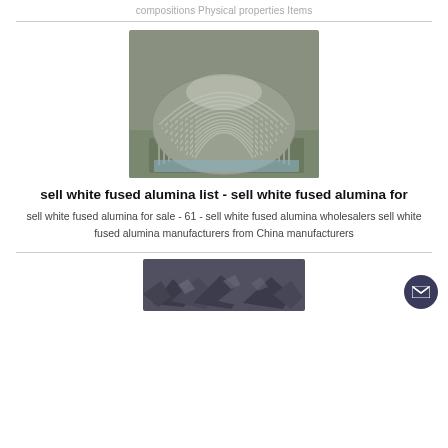compositions Physical properties Items
[Figure (photo): Photo of a coiled metallic wire/rod coil product (aluminum alloy wire coil)]
sell white fused alumina list - sell white fused alumina for
sell white fused alumina for sale - 61 - sell white fused alumina wholesalers sell white fused alumina manufacturers from China manufacturers
[Figure (photo): Photo of dark mineral chunks/rocks (white fused alumina raw material)]